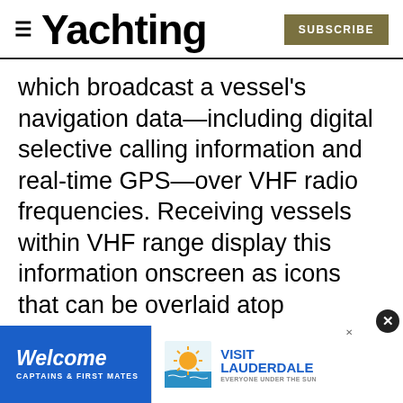Yachting | SUBSCRIBE
which broadcast a vessel's navigation data—including digital selective calling information and real-time GPS—over VHF radio frequencies. Receiving vessels within VHF range display this information onscreen as icons that can be overlaid atop electronic cartography or a radar display.
Ten years ago, mariners could choose between two kinds of AIS transceivers. Clas display and broadcast their position
[Figure (other): Advertisement banner: Welcome Captains & First Mates | Visit Lauderdale — Everyone Under the Sun]